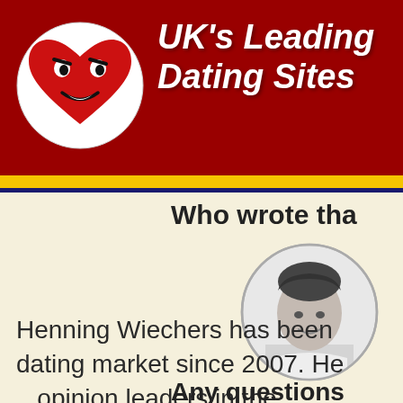UK's Leading Dating Sites
Who wrote tha…
[Figure (photo): Circular black-and-white headshot of Henning Wiechers, a man smiling with short dark hair, wearing a light-colored shirt]
Henning Wiechers has been dating market since 2007. He opinion leaders in the
Any questions